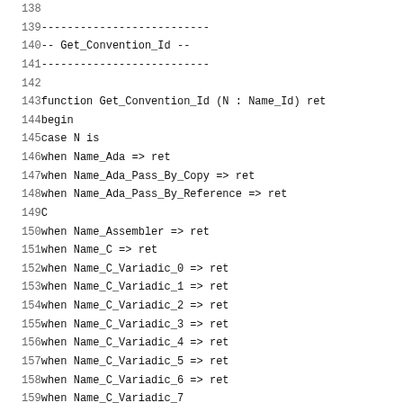Code listing lines 138-159, Ada function Get_Convention_Id with case statement on Name_Id